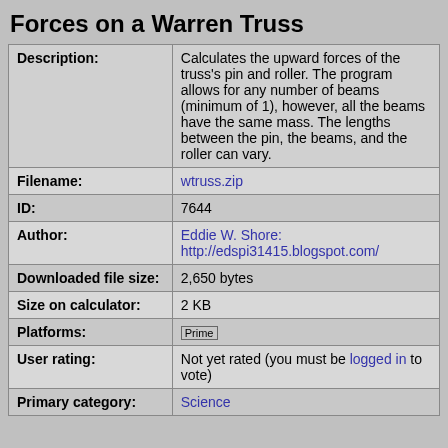Forces on a Warren Truss
| Field | Value |
| --- | --- |
| Description: | Calculates the upward forces of the truss's pin and roller. The program allows for any number of beams (minimum of 1), however, all the beams have the same mass. The lengths between the pin, the beams, and the roller can vary. |
| Filename: | wtruss.zip |
| ID: | 7644 |
| Author: | Eddie W. Shore: http://edspi31415.blogspot.com/ |
| Downloaded file size: | 2,650 bytes |
| Size on calculator: | 2 KB |
| Platforms: | Prime |
| User rating: | Not yet rated (you must be logged in to vote) |
| Primary category: | Science |